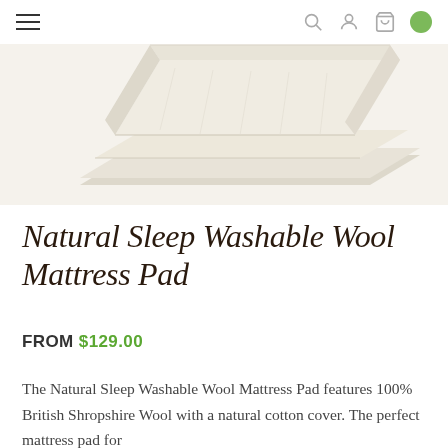Navigation header with hamburger menu and icons
[Figure (photo): Product photo of a Natural Sleep Washable Wool Mattress Pad folded, showing cream/off-white fabric layers]
Natural Sleep Washable Wool Mattress Pad
FROM $129.00
The Natural Sleep Washable Wool Mattress Pad features 100% British Shropshire Wool with a natural cotton cover. The perfect mattress pad for